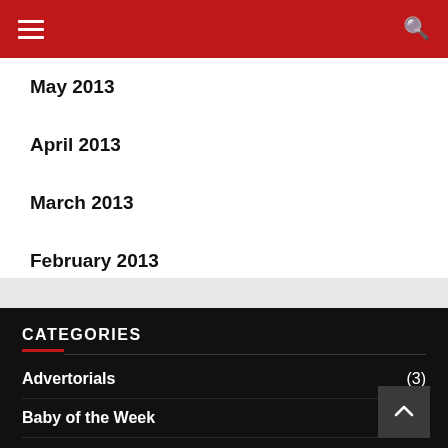Navigation header with hamburger menu and search icon
May 2013
April 2013
March 2013
February 2013
CATEGORIES
Advertorials (3)
Baby of the Week (9)
Blogs
Bollywood (1,237)
Book Review (2)